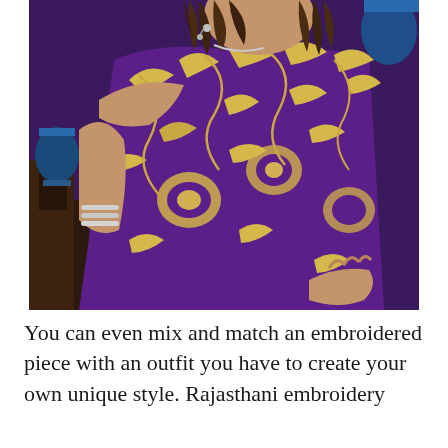[Figure (photo): A woman wearing a purple saree with gold floral embroidery, with curly hair, silver bangles and earrings, posed in an indoor setting with ornate wooden furniture and blue decorative items in the background.]
You can even mix and match an embroidered piece with an outfit you have to create your own unique style. Rajasthani embroidery